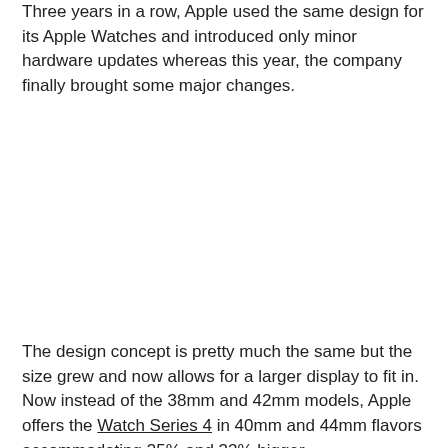Three years in a row, Apple used the same design for its Apple Watches and introduced only minor hardware updates whereas this year, the company finally brought some major changes.
The design concept is pretty much the same but the size grew and now allows for a larger display to fit in. Now instead of the 38mm and 42mm models, Apple offers the Watch Series 4 in 40mm and 44mm flavors accommodating 35% and 32% bigger